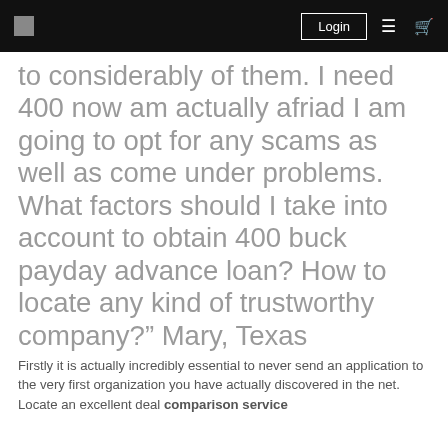Login
to considerably of them. I need 400 now am actually afriad I am going to opt for any scams as well as come under problems. What factors should I take into account to obtain 400 buck payday advance loan? How to locate any kind of trustworthy company?” Mary, Texas
Firstly it is actually incredibly essential to never send an application to the very first organization you have actually discovered in the net. Locate an excellent deal comparison service